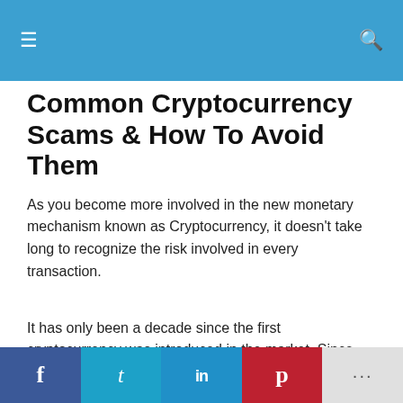≡  [search icon]
Common Cryptocurrency Scams & How To Avoid Them
As you become more involved in the new monetary mechanism known as Cryptocurrency, it doesn't take long to recognize the risk involved in every transaction.
It has only been a decade since the first cryptocurrency was introduced in the market. Since then, it has become a money-earning machine. Naturally, this attracted the attention of hackers and fraudulent activists.
Share buttons: Facebook, Twitter, LinkedIn, Pinterest, More